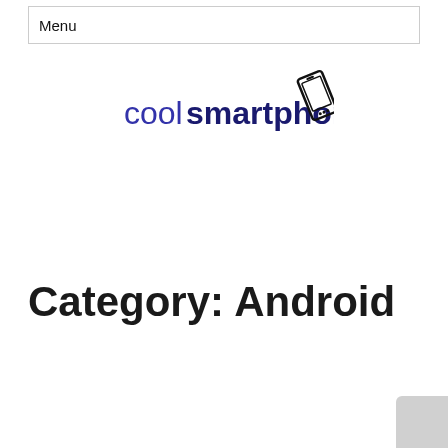Menu
[Figure (logo): coolsmartphone logo with smartphone icon - text reads 'cool' in blue regular weight and 'smartphone' in dark blue bold, with a tilted smartphone icon to the right]
Category: Android